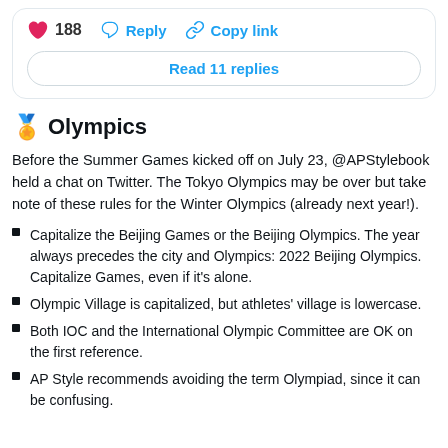[Figure (screenshot): Social media post actions row with heart icon showing 188 likes, Reply button, and Copy link button, plus a Read 11 replies button]
🏅 Olympics
Before the Summer Games kicked off on July 23, @APStylebook held a chat on Twitter. The Tokyo Olympics may be over but take note of these rules for the Winter Olympics (already next year!).
Capitalize the Beijing Games or the Beijing Olympics. The year always precedes the city and Olympics: 2022 Beijing Olympics. Capitalize Games, even if it's alone.
Olympic Village is capitalized, but athletes' village is lowercase.
Both IOC and the International Olympic Committee are OK on the first reference.
AP Style recommends avoiding the term Olympiad, since it can be confusing.